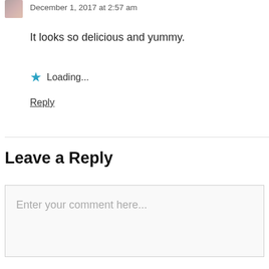December 1, 2017 at 2:57 am
It looks so delicious and yummy.
Loading...
Reply
Leave a Reply
Enter your comment here...